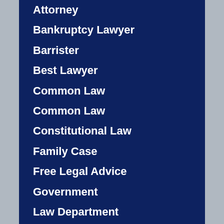Attorney
Bankruptcy Lawyer
Barrister
Best Lawyer
Common Law
Common Law
Constitutional Law
Family Case
Free Legal Advice
Government
Law Department
Law Firm
Law Injury
Law Offices